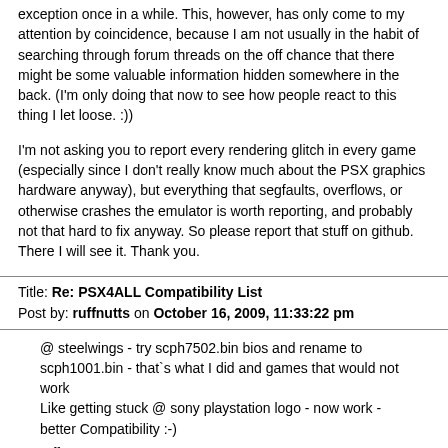exception once in a while. This, however, has only come to my attention by coincidence, because I am not usually in the habit of searching through forum threads on the off chance that there might be some valuable information hidden somewhere in the back. (I'm only doing that now to see how people react to this thing I let loose. :))
I'm not asking you to report every rendering glitch in every game (especially since I don't really know much about the PSX graphics hardware anyway), but everything that segfaults, overflows, or otherwise crashes the emulator is worth reporting, and probably not that hard to fix anyway. So please report that stuff on github. There I will see it. Thank you.
Title: Re: PSX4ALL Compatibility List
Post by: ruffnutts on October 16, 2009, 11:33:22 pm
@ steelwings - try scph7502.bin bios and rename to scph1001.bin - that`s what I did and games that would not work
Like getting stuck @ sony playstation logo - now work - better Compatibility :-)
ruffnutts
Title: Re: PSX4ALL Compatibility List
Post by: diab on October 17, 2009, 01:25:21 am